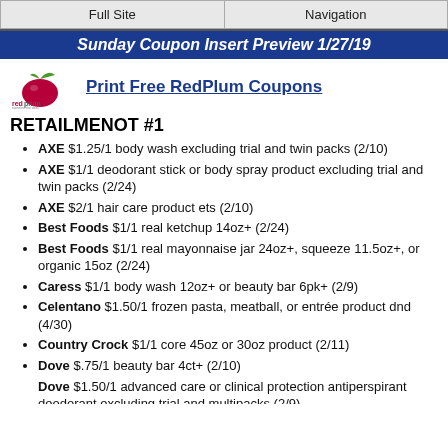Full Site | Navigation
Sunday Coupon Insert Preview 1/27/19
[Figure (logo): RedPlum logo with tagline 'sweeten the deal' and link 'Print Free RedPlum Coupons']
RETAILMENOT #1
AXE $1.25/1 body wash excluding trial and twin packs (2/10)
AXE $1/1 deodorant stick or body spray product excluding trial and twin packs (2/24)
AXE $2/1 hair care product ets (2/10)
Best Foods $1/1 real ketchup 14oz+ (2/24)
Best Foods $1/1 real mayonnaise jar 24oz+, squeeze 11.5oz+, or organic 15oz (2/24)
Caress $1/1 body wash 12oz+ or beauty bar 6pk+ (2/9)
Celentano $1.50/1 frozen pasta, meatball, or entrée product dnd (4/30)
Country Crock $1/1 core 45oz or 30oz product (2/11)
Dove $.75/1 beauty bar 4ct+ (2/10)
Dove $1.50/1 advanced care or clinical protection antiperspirant deodorant excluding trial and multipacks (2/9)